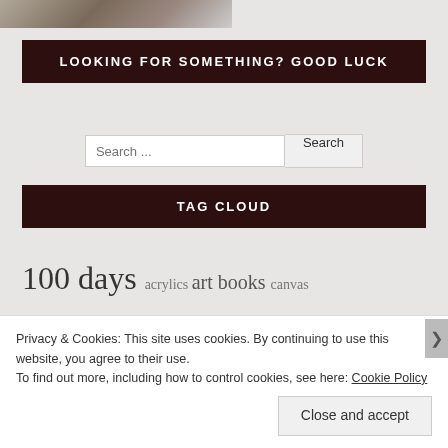[Figure (photo): Partial photo strip at the top of the page showing a cropped image]
LOOKING FOR SOMETHING? GOOD LUCK
Search ...
TAG CLOUD
100 days acrylics art books canvas cartoon
Christmas coffee daily prompt diary food
Privacy & Cookies: This site uses cookies. By continuing to use this website, you agree to their use. To find out more, including how to control cookies, see here: Cookie Policy
Close and accept